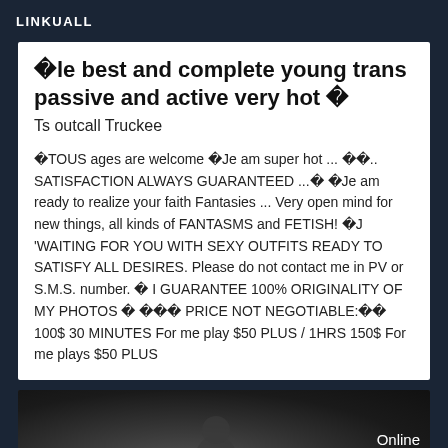LINKUALL
�le best and complete young trans passive and active very hot �
Ts outcall Truckee
�TOUS ages are welcome �Je am super hot ... ��.. SATISFACTION ALWAYS GUARANTEED ...� �Je am ready to realize your faith Fantasies ... Very open mind for new things, all kinds of FANTASMS and FETISH! �J 'WAITING FOR YOU WITH SEXY OUTFITS READY TO SATISFY ALL DESIRES. Please do not contact me in PV or S.M.S. number. � I GUARANTEE 100% ORIGINALITY OF MY PHOTOS � ��� PRICE NOT NEGOTIABLE:�� 100$ 30 MINUTES For me play $50 PLUS / 1HRS 150$ For me plays $50 PLUS
[Figure (photo): Dark image strip with Online badge on the right side]